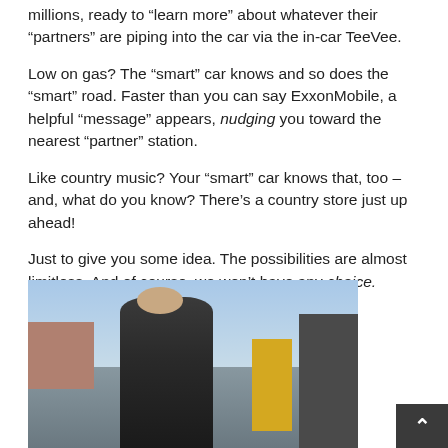millions, ready to “learn more” about whatever their “partners” are piping into the car via the in-car TeeVee.
Low on gas? The “smart” car knows and so does the “smart” road. Faster than you can say ExxonMobile, a helpful “message” appears, nudging you toward the nearest “partner” station.
Like country music? Your “smart” car knows that, too – and, what do you know? There’s a country store just up ahead!
Just to give you some idea. The possibilities are almost limitless. And of course, we won’t have any choice.
[Figure (photo): A man in a dark jacket standing outdoors near an industrial or urban area with a bridge or overpass structure visible in the background, and yellow and brick-colored buildings nearby. Blue sky visible.]